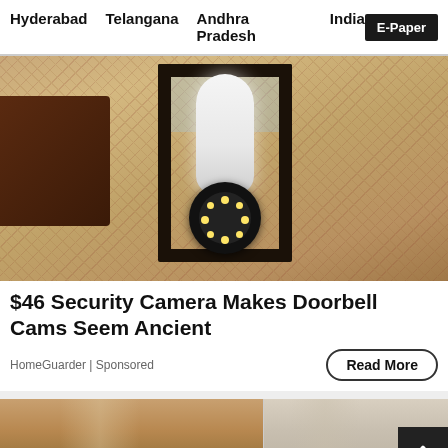Hyderabad   Telangana   Andhra Pradesh   India   E-Paper
[Figure (photo): Security camera shaped like a light bulb mounted inside a black lantern wall fixture on a textured stucco wall.]
$46 Security Camera Makes Doorbell Cams Seem Ancient
HomeGuarder | Sponsored
Read More
[Figure (photo): Two women side by side — a before/after comparison photo for an advertisement. A scroll-to-top button (dark with upward chevron) overlays the bottom right.]